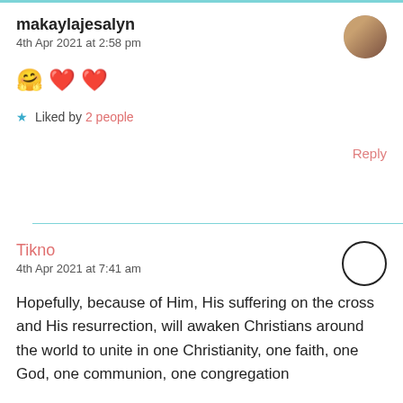makaylajesalyn
4th Apr 2021 at 2:58 pm
🤗 ❤️ ❤️
★ Liked by 2 people
Reply
Tikno
4th Apr 2021 at 7:41 am
Hopefully, because of Him, His suffering on the cross and His resurrection, will awaken Christians around the world to unite in one Christianity, one faith, one God, one communion, one congregation